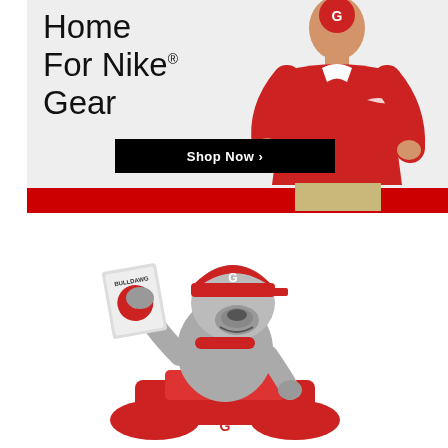[Figure (illustration): Nike gear promotional banner with a man wearing a red Georgia Bulldogs Nike polo shirt, large text reading 'Home For Nike® Gear' and a black 'Shop Now >' button, with a red bar at the bottom]
[Figure (illustration): Georgia Bulldogs cartoon mascot bulldog character wearing a red G cap, sitting on a motorcycle, holding up a 'Bulldawg' magazine/book showing a Georgia football helmet]